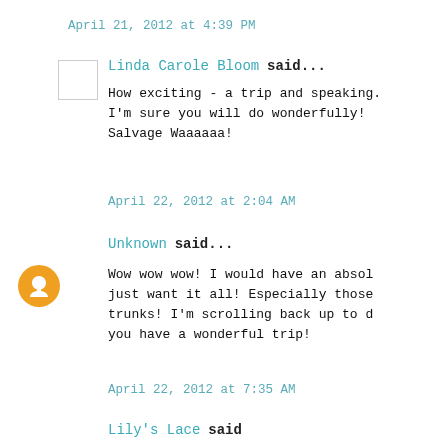April 21, 2012 at 4:39 PM
Linda Carole Bloom said...
How exciting - a trip and speaking. I'm sure you will do wonderfully! Salvage Waaaaaa!
April 22, 2012 at 2:04 AM
Unknown said...
Wow wow wow! I would have an absol just want it all! Especially those trunks! I'm scrolling back up to d you have a wonderful trip!
April 22, 2012 at 7:35 AM
Lily's Lace said...